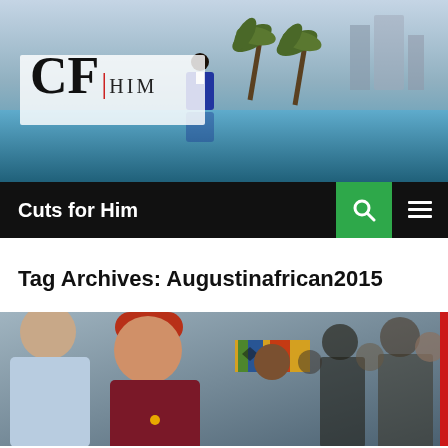[Figure (photo): Header banner photo of a man in a blue suit standing at an infinity pool edge with city skyline and palm trees in the background. CF|HIM logo overlaid on the left side.]
Cuts for Him
Tag Archives: Augustinafrican2015
[Figure (photo): Crowd photo showing multiple people including a man with red hair in a maroon polo shirt and a woman wearing a colorful kente-pattern headwrap.]